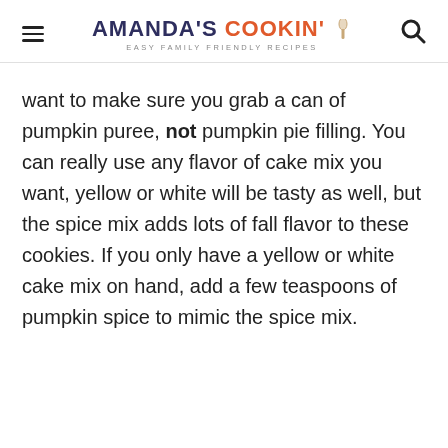AMANDA'S COOKIN' — EASY FAMILY FRIENDLY RECIPES
want to make sure you grab a can of pumpkin puree, not pumpkin pie filling. You can really use any flavor of cake mix you want, yellow or white will be tasty as well, but the spice mix adds lots of fall flavor to these cookies. If you only have a yellow or white cake mix on hand, add a few teaspoons of pumpkin spice to mimic the spice mix.